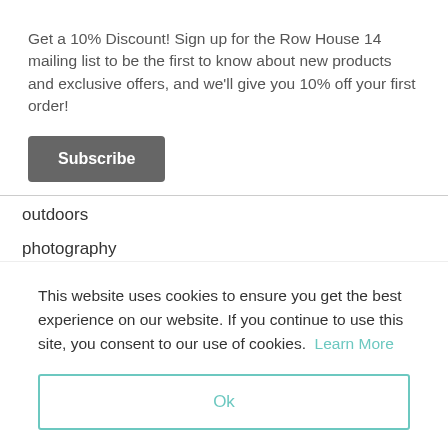Get a 10% Discount! Sign up for the Row House 14 mailing list to be the first to know about new products and exclusive offers, and we'll give you 10% off your first order!
Subscribe
outdoors
photography
This website uses cookies to ensure you get the best experience on our website. If you continue to use this site, you consent to our use of cookies. Learn More
Ok